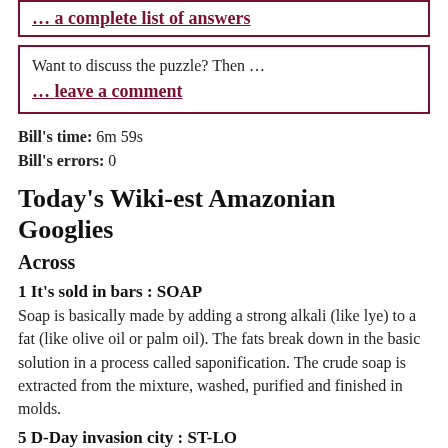… a complete list of answers
Want to discuss the puzzle? Then …
… leave a comment
Bill's time: 6m 59s
Bill's errors: 0
Today's Wiki-est Amazonian Googlies
Across
1 It's sold in bars : SOAP
Soap is basically made by adding a strong alkali (like lye) to a fat (like olive oil or palm oil). The fats break down in the basic solution in a process called saponification. The crude soap is extracted from the mixture, washed, purified and finished in molds.
5 D-Day invasion city : ST-LO
Saint-Lô is a town in Normandy that was occupied by Germany in 1940. Saint-Lo stood at a strategic crossroads